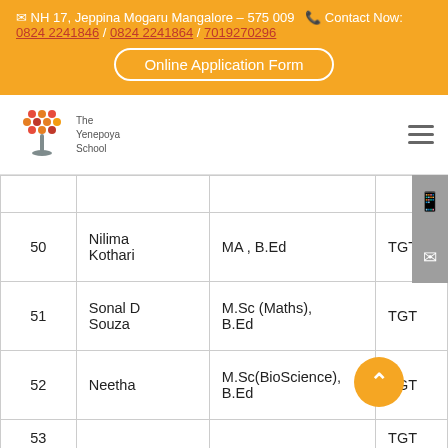NH 17, Jeppina Mogaru Mangalore – 575 009  Contact Now: 0824 2241846 / 0824 2241864 / 7019270296
[Figure (logo): The Yenepoya School logo with colorful dots and tree motif]
| # | Name | Qualification | Designation |
| --- | --- | --- | --- |
| 50 | Nilima Kothari | MA , B.Ed | TGT |
| 51 | Sonal D Souza | M.Sc (Maths), B.Ed | TGT |
| 52 | Neetha | M.Sc(BioScience), B.Ed | TGT |
| 53 | ... | B.Sc, MA, B.Ed, ... | TGT |